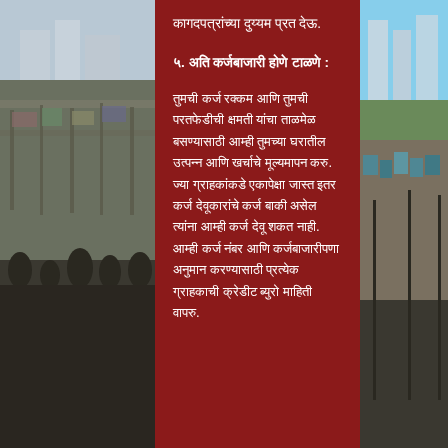[Figure (photo): Background photo of a crowded market or slum area on the left side of the page]
[Figure (photo): Background photo of a market/urban area on the right side of the page]
कागदपत्रांच्या दुय्यम प्रत देऊ.
५. अति कर्जबाजारी होणे टाळणे :
तुमची कर्ज रक्कम आणि तुमची परतफेडीची क्षमती यांचा ताळमेळ बसण्यासाठी आम्ही तुमच्या घरातील उत्पन्न आणि खर्चाचे मूल्यमापन करु. ज्या ग्राहकांकडे एकापेक्षा जास्त इतर कर्ज देवूकारांचे कर्ज बाकी असेल त्यांना आम्ही कर्ज देवू शकत नाही. आम्ही कर्ज नंबर आणि कर्जबाजारीपणा अनुमान करण्यासाठी प्रत्येक ग्राहकाची क्रेडीट ब्युरो माहिती वापरु.